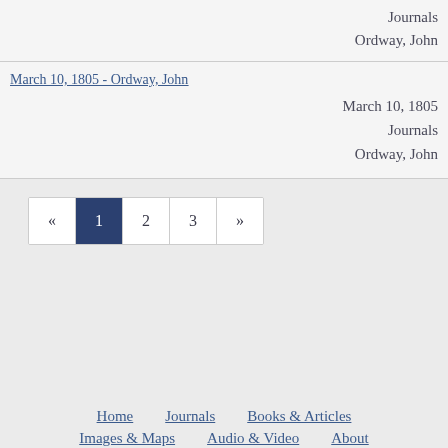Journals
Ordway, John
March 10, 1805 - Ordway, John
March 10, 1805
Journals
Ordway, John
« 1 2 3 »
Home  Journals  Books & Articles  Images & Maps  Audio & Video  About